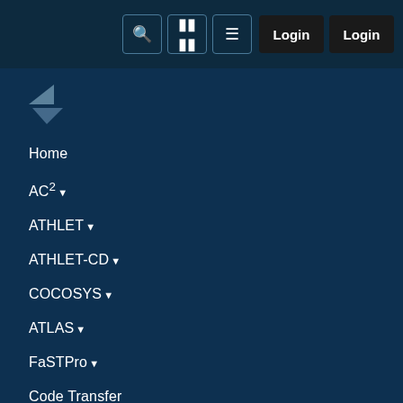Login Login
[Figure (logo): Triangular logo mark in blue/dark tones]
Home
AC² ▾
ATHLET ▾
ATHLET-CD ▾
COCOSYS ▾
ATLAS ▾
FaSTPro ▾
Code Transfer
and for the pressure build-up and fission product behavior in the containment.
ATLAS is used by research and regulatory organisations worldwide for a wide range of tasks. Particularly noteworthy are